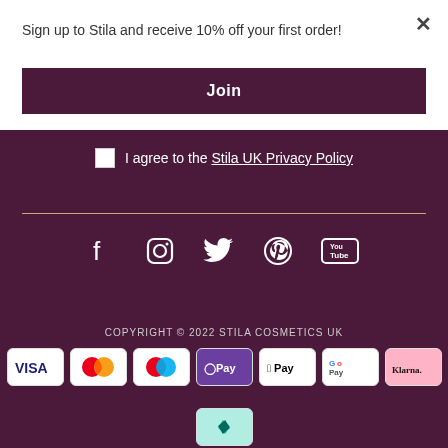Sign up to Stila and receive 10% off your first order!
Join
I agree to the Stila UK Privacy Policy
[Figure (infographic): Social media icons: Facebook, Instagram, Twitter, Pinterest, YouTube]
COPYRIGHT © 2022 STILA COSMETICS UK
[Figure (infographic): Payment method logos: VISA, Mastercard, Mastercard red/blue, OPay, Apple Pay, Google Pay, Klarna, Afterpay]